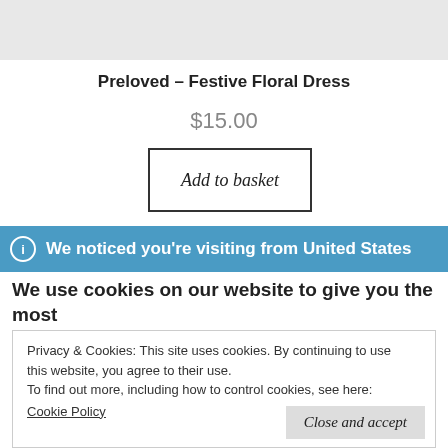[Figure (other): Gray background bar at the top of the page]
Preloved – Festive Floral Dress
$15.00
Add to basket
ℹ We noticed you're visiting from United States
We use cookies on our website to give you the most relevant experience by remembering your
Privacy & Cookies: This site uses cookies. By continuing to use this website, you agree to their use.
To find out more, including how to control cookies, see here:
Cookie Policy
Close and accept